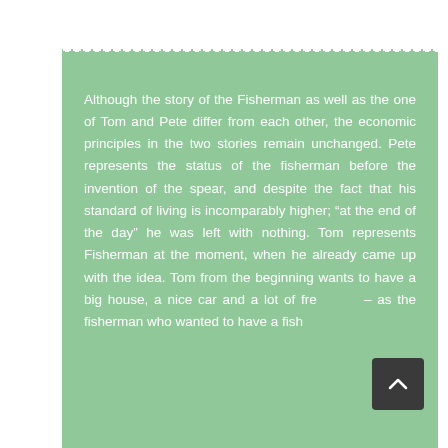Although the story of the Fisherman as well as the one of Tom and Pete differ from each other, the economic principles in the two stories remain unchanged. Pete represents the status of the fisherman before the invention of the spear, and despite the fact that his standard of living is incomparably higher; “at the end of the day” he was left with nothing. Tom represents Fisherman at the moment, when he already came up with the idea. Tom from the beginning wants to have a big house, a nice car and a lot of fre... – as the fisherman who wanted to have a fish